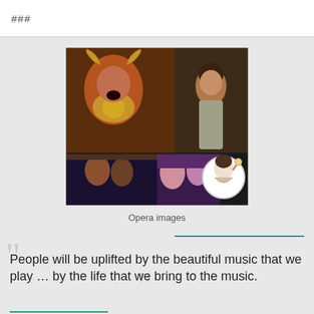###
[Figure (photo): Collage of opera performance images including a Viking-costumed singer, a period-dressed woman, performers on stage, and a vintage circular illustration of a woman]
Opera images
People will be uplifted by the beautiful music that we play … by the life that we bring to the music.